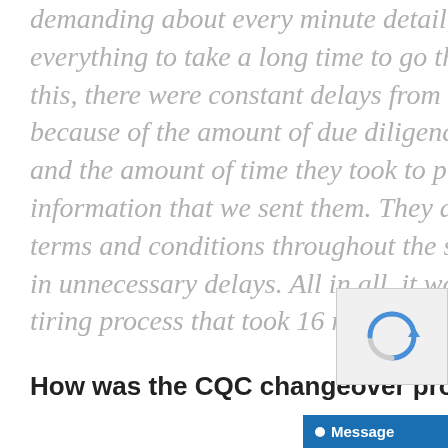because the lawyers were very demanding about every minute detail, and that caused everything to take a long time to go through. On top of this, there were constant delays from the other side because of the amount of due diligence that they wanted and the amount of time they took to process all the information that we sent them. They also introduced new terms and conditions throughout the sale, which resulted in unnecessary delays. All in all, it was a protracted and tiring process that took 16 months to complete."
How was the CQC changeover process?